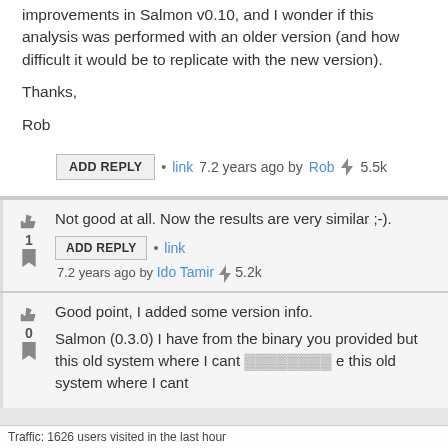improvements in Salmon v0.10, and I wonder if this analysis was performed with an older version (and how difficult it would be to replicate with the new version).
Thanks,
Rob
ADD REPLY • link 7.2 years ago by Rob ⚡ 5.5k
Not good at all. Now the results are very similar ;-).
ADD REPLY • link 7.2 years ago by Ido Tamir ⚡ 5.2k
Good point, I added some version info.
Salmon (0.3.0) I have from the binary you provided but this old system where I cant … ng now, so I would need a…
Traffic: 1626 users visited in the last hour